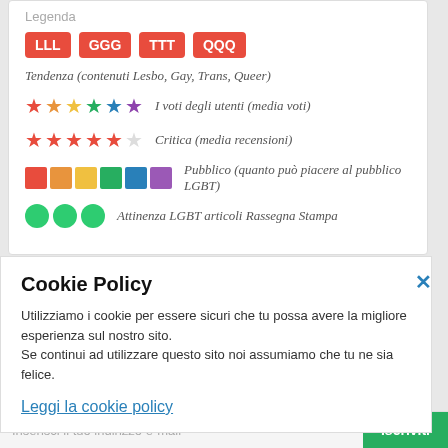Legenda
LLL  GGG  TTT  QQQ
Tendenza (contenuti Lesbo, Gay, Trans, Queer)
I voti degli utenti (media voti)
Critica (media recensioni)
Pubblico (quanto può piacere al pubblico LGBT)
Attinenza LGBT articoli Rassegna Stampa
Cookie Policy
Utilizziamo i cookie per essere sicuri che tu possa avere la migliore esperienza sul nostro sito.
Se continui ad utilizzare questo sito noi assumiamo che tu ne sia felice.
Leggi la cookie policy